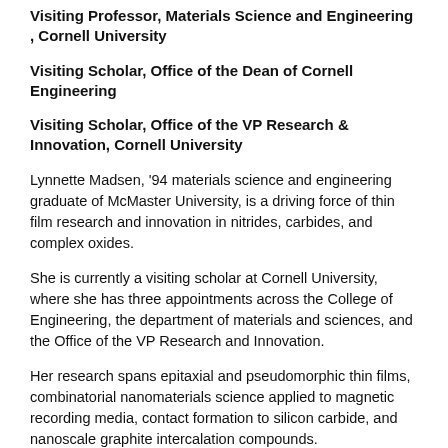Visiting Professor, Materials Science and Engineering , Cornell University
Visiting Scholar, Office of the Dean of Cornell Engineering
Visiting Scholar, Office of the VP Research & Innovation, Cornell University
Lynnette Madsen, '94 materials science and engineering graduate of McMaster University, is a driving force of thin film research and innovation in nitrides, carbides, and complex oxides.
She is currently a visiting scholar at Cornell University, where she has three appointments across the College of Engineering, the department of materials and sciences, and the Office of the VP Research and Innovation.
Her research spans epitaxial and pseudomorphic thin films, combinatorial nanomaterials science applied to magnetic recording media, contact formation to silicon carbide, and nanoscale graphite intercalation compounds.
"I was... selected for this fellowship..."